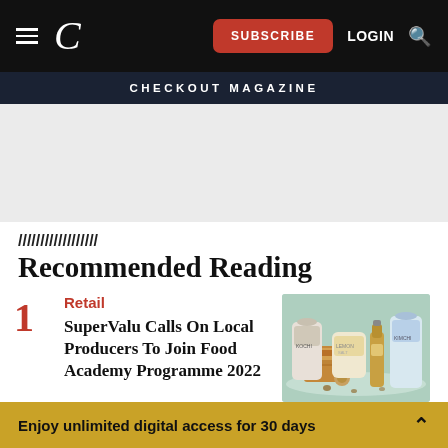C | SUBSCRIBE | LOGIN
CHECKOUT MAGAZINE
[Figure (other): Gray advertisement placeholder area]
Recommended Reading
1 Retail
SuperValu Calls On Local Producers To Join Food Academy Programme 2022
[Figure (photo): Product photo showing various food and drink items including packaged goods and a bottle on a light blue background]
Enjoy unlimited digital access for 30 days